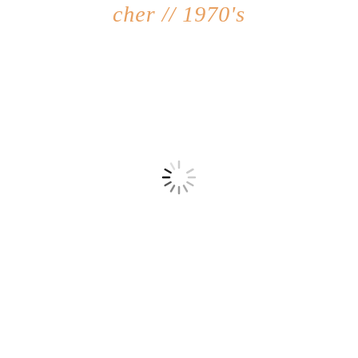cher // 1970's
[Figure (other): A loading spinner icon (circular spokes pattern) centered on the page, with dark spokes at one position indicating rotation, on white background]